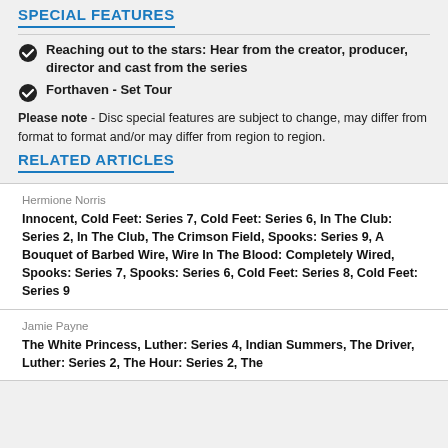SPECIAL FEATURES
Reaching out to the stars: Hear from the creator, producer, director and cast from the series
Forthaven - Set Tour
Please note - Disc special features are subject to change, may differ from format to format and/or may differ from region to region.
RELATED ARTICLES
Hermione Norris
Innocent, Cold Feet: Series 7, Cold Feet: Series 6, In The Club: Series 2, In The Club, The Crimson Field, Spooks: Series 9, A Bouquet of Barbed Wire, Wire In The Blood: Completely Wired, Spooks: Series 7, Spooks: Series 6, Cold Feet: Series 8, Cold Feet: Series 9
Jamie Payne
The White Princess, Luther: Series 4, Indian Summers, The Driver, Luther: Series 2, The Hour: Series 2, The…